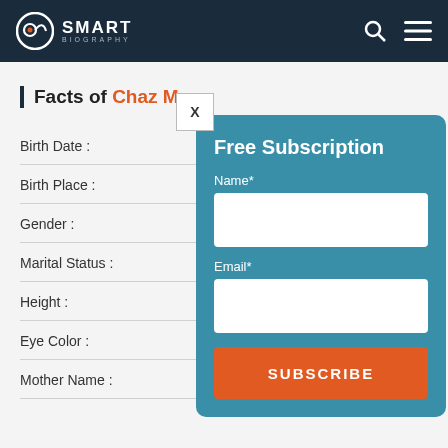Smart Biography
Facts of Chaz Marc
Birth Date :
Birth Place :
Gender :
Marital Status :
Height :
Eye Color :
Mother Name :
[Figure (screenshot): Free Subscription modal dialog with Name and Email input fields and a SUBSCRIBE button, overlaid on the Smart Biography biography facts page.]